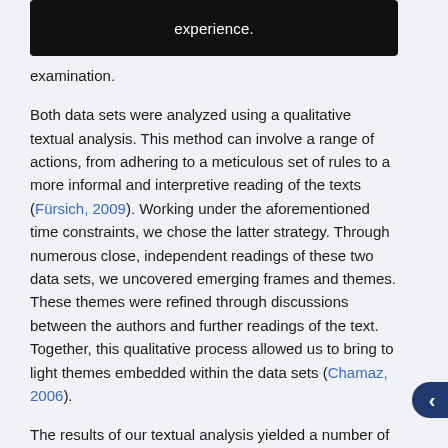[Figure (other): Black overlay bar partially obscuring text at top of page, showing partial text 'experience.' and 'to']
examination.
Both data sets were analyzed using a qualitative textual analysis. This method can involve a range of actions, from adhering to a meticulous set of rules to a more informal and interpretive reading of the texts (Fürsich, 2009). Working under the aforementioned time constraints, we chose the latter strategy. Through numerous close, independent readings of these two data sets, we uncovered emerging frames and themes. These themes were refined through discussions between the authors and further readings of the text. Together, this qualitative process allowed us to bring to light themes embedded within the data sets (Chamaz, 2006).
The results of our textual analysis yielded a number of themes (and frames in our